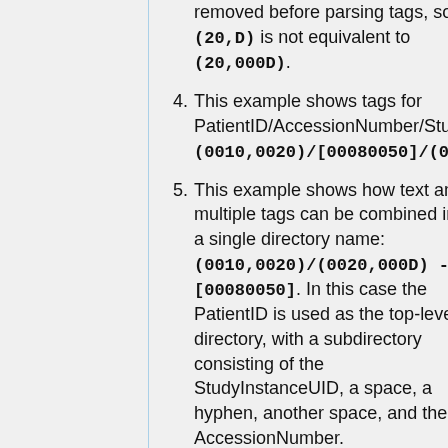removed before parsing tags, so (20,D) is not equivalent to (20,000D).
4. This example shows tags for PatientID/AccessionNumber/StudyIn... (0010,0020)/[00080050]/(002...
5. This example shows how text and multiple tags can be combined in a single directory name: (0010,0020)/(0020,000D) - [00080050]. In this case the PatientID is used as the top-level directory, with a subdirectory consisting of the StudyInstanceUID, a space, a hyphen, another space, and the AccessionNumber.
6. Whitespace replacement is performed on all the text of a directory name, after substitution